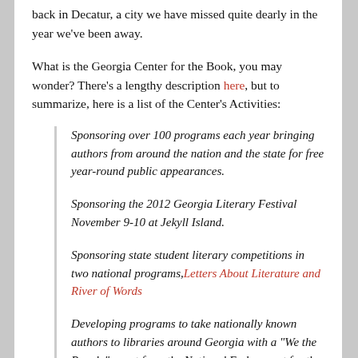back in Decatur, a city we have missed quite dearly in the year we've been away.
What is the Georgia Center for the Book, you may wonder? There's a lengthy description here, but to summarize, here is a list of the Center's Activities:
Sponsoring over 100 programs each year bringing authors from around the nation and the state for free year-round public appearances.
Sponsoring the 2012 Georgia Literary Festival November 9-10 at Jekyll Island.
Sponsoring state student literary competitions in two national programs, Letters About Literature and River of Words
Developing programs to take nationally known authors to libraries around Georgia with a "We the People" grant from the National Endowment for the Humanities through the Georgia Humanities Council. The first "We the People" program ever...